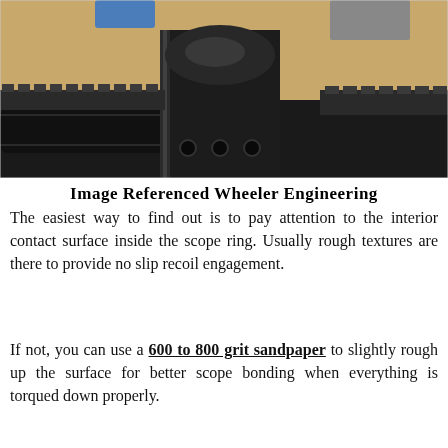[Figure (photo): Close-up photograph of a rifle scope ring mount sitting on a Picatinny rail, showing the interior contact surface and mounting screws, with a wooden workbench visible in the background.]
Image Referenced Wheeler Engineering
The easiest way to find out is to pay attention to the interior contact surface inside the scope ring. Usually rough textures are there to provide no slip recoil engagement.
If not, you can use a 600 to 800 grit sandpaper to slightly rough up the surface for better scope bonding when everything is torqued down properly.